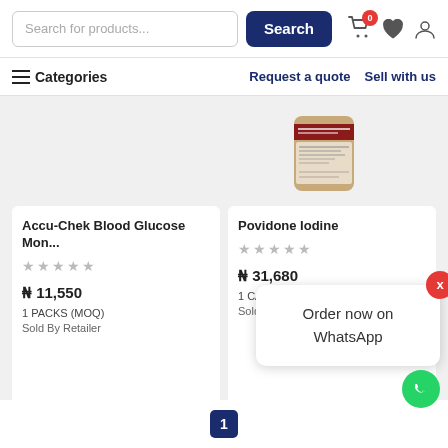Search for products... [Search] [cart:0] [wishlist] [account]
≡ Categories   Request a quote   Sell with us
[Figure (photo): Partial view of a brown glass bottle (Povidone Iodine antiseptic solution product) from above]
Accu-Chek Blood Glucose Mon...
★★★★★
₦ 11,550
1 PACKS (MOQ)
Sold By Retailer
Povidone Iodine
★★★★★
₦ 31,680
1 CARTONS (MOQ)
Sold By Retailer
Order now on WhatsApp
1